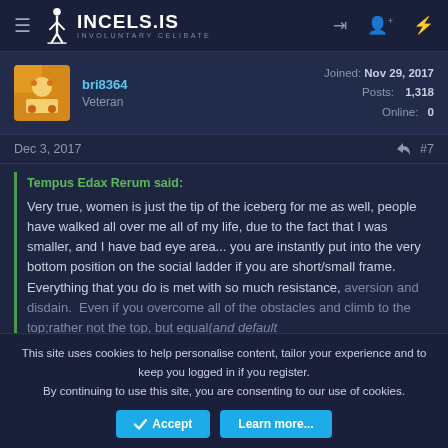INCELS.IS — INVOLUNTARY CELIBATE
bri8364 — Veteran — Joined: Nov 29, 2017 — Posts: 1,318 — Online: 0
Dec 3, 2017 — #7
Tempus Edax Rerum said: Very true, women is just the tip of the iceberg for me as well, people have walked all over me all of my life, due to the fact that I was smaller, and I have bad eye area... you are instantly put into the very bottom position on the social ladder if you are short/small frame.  Everything that you do is met with so much resistance, aversion and disdain.  Even if you overcome all of the obstacles and climb to the top;rather not the top, but equal(and default
This site uses cookies to help personalise content, tailor your experience and to keep you logged in if you register. By continuing to use this site, you are consenting to our use of cookies.